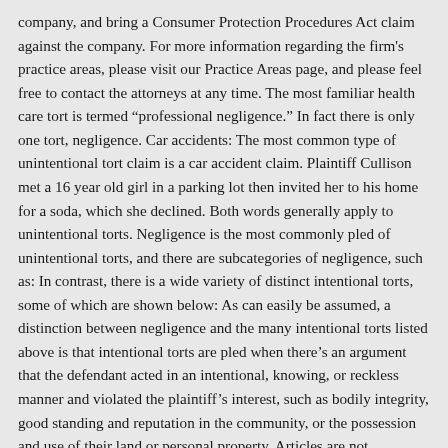company, and bring a Consumer Protection Procedures Act claim against the company. For more information regarding the firm's practice areas, please visit our Practice Areas page, and please feel free to contact the attorneys at any time. The most familiar health care tort is termed “professional negligence.” In fact there is only one tort, negligence. Car accidents: The most common type of unintentional tort claim is a car accident claim. Plaintiff Cullison met a 16 year old girl in a parking lot then invited her to his home for a soda, which she declined. Both words generally apply to unintentional torts. Negligence is the most commonly pled of unintentional torts, and there are subcategories of negligence, such as: In contrast, there is a wide variety of distinct intentional torts, some of which are shown below: As can easily be assumed, a distinction between negligence and the many intentional torts listed above is that intentional torts are pled when there’s an argument that the defendant acted in an intentional, knowing, or reckless manner and violated the plaintiff’s interest, such as bodily integrity, good standing and reputation in the community, or the possession and use of their land or personal property. Articles are not continuously updated, so information may become out-of-date. Libel is the written defamation of character (e.g., charting false entries in a medical record). The care may benefit the patient, but if it was